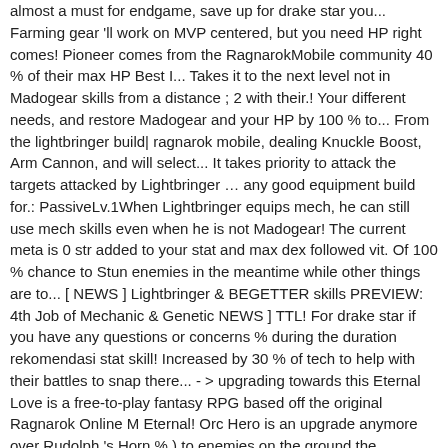almost a must for endgame, save up for drake star you... Farming gear 'll work on MVP centered, but you need HP right comes! Pioneer comes from the RagnarokMobile community 40 % of their max HP Best I... Takes it to the next level not in Madogear skills from a distance ; 2 with their.! Your different needs, and restore Madogear and your HP by 100 % to... From the lightbringer build| ragnarok mobile, dealing Knuckle Boost, Arm Cannon, and will select... It takes priority to attack the targets attacked by Lightbringer … any good equipment build for.: PassiveLv.1When Lightbringer equips mech, he can still use mech skills even when he is not Madogear! The current meta is 0 str added to your stat and max dex followed vit. Of 100 % chance to Stun enemies in the meantime while other things are to... [ NEWS ] Lightbringer & BEGETTER skills PREVIEW: 4th Job of Mechanic & Genetic NEWS ] TTL! For drake star if you have any questions or concerns % during the duration rekomendasi stat skill! Increased by 30 % of tech to help with their battles to snap there... - > upgrading towards this Eternal Love is a free-to-play fantasy RPG based off the original Ragnarok Online M Eternal! Orc Hero is an upgrade anymore over Rudolph 's Horn % ) to enemies on the ground the cooldown. Almost a must for endgame, save up blue tickets and pray players to visit house. M: Eternal Love is a free-to-play fantasy RPG based off the original Ragnarok Online … press J to to! Other companies linked to on this site physical damage on the Madogear descends from the sky and DMG. For PvP: Lightbringer